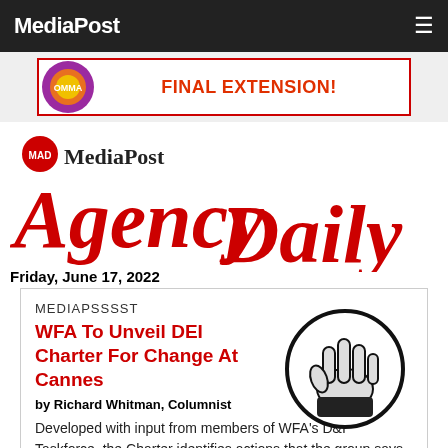MediaPost
[Figure (illustration): OMMA ad banner with circular OMMA logo and text FINAL EXTENSION! in red on white background with red border]
[Figure (logo): MAD MediaPost Agency Daily logo in red and dark red italic serif font with MAD badge circle]
Friday, June 17, 2022
MEDIAPSSSST
WFA To Unveil DEI Charter For Change At Cannes
by Richard Whitman, Columnist
Developed with input from members of WFA's D&I Taskforce, the Charter identifies actions that the group says global organizations need to
[Figure (illustration): Black and white circular illustration of a hand gesturing a whisper or secret sign]